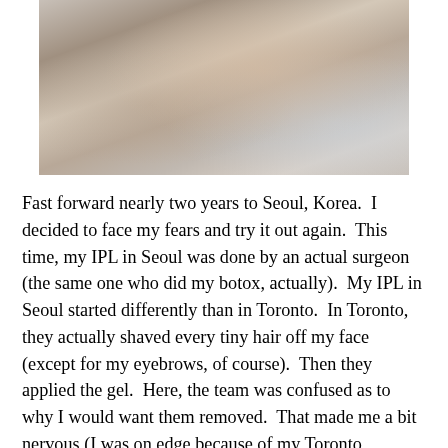[Figure (photo): A person lying down with their head tilted, appearing to be receiving a facial treatment. The image shows a close-up of the person's face/neck area resting on what appears to be a white surface or towel.]
Fast forward nearly two years to Seoul, Korea.  I decided to face my fears and try it out again.  This time, my IPL in Seoul was done by an actual surgeon (the same one who did my botox, actually).  My IPL in Seoul started differently than in Toronto.  In Toronto, they actually shaved every tiny hair off my face (except for my eyebrows, of course).  Then they applied the gel.  Here, the team was confused as to why I would want them removed.  That made me a bit nervous (I was on edge because of my Toronto experience already), but we went ahead.